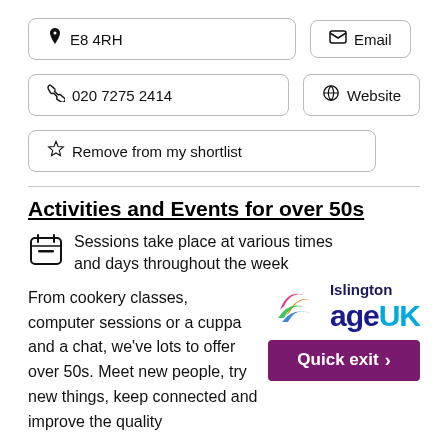📍 E8 4RH
✉ Email
📞 020 7275 2414
🔗 Website
☆ Remove from my shortlist
Activities and Events for over 50s
Sessions take place at various times and days throughout the week
From cookery classes, computer sessions or a cuppa and a chat, we've lots to offer over 50s. Meet new people, try new things, keep connected and improve the quality
[Figure (logo): Islington Age UK logo with colourful swirl graphic and 'Quick exit' button in purple]